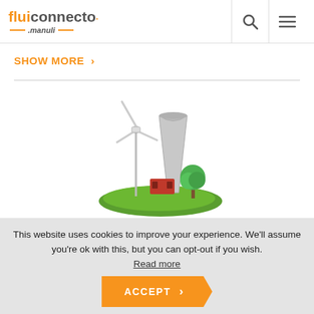fluiconnecto by manuli
SHOW MORE >
[Figure (illustration): Energy industry illustration showing a wind turbine, cooling tower/nuclear plant building, and a green tree on a grass mound]
ENERGY
This website uses cookies to improve your experience. We'll assume you're ok with this, but you can opt-out if you wish. Read more
ACCEPT >